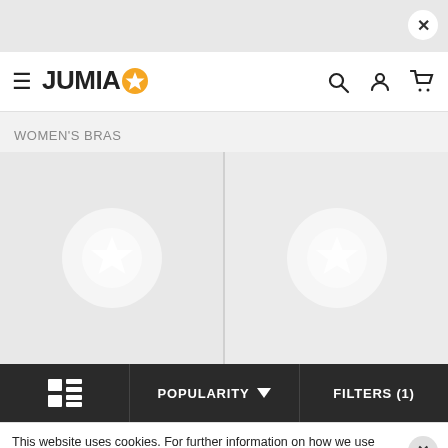[Figure (screenshot): Top gray bar with close (×) button in a white circle on the right]
JUMIA ★  [hamburger menu] [search icon] [account icon] [cart icon]
WOMEN'S BRAS
[Figure (screenshot): Two product placeholder cards side by side, each showing a large white star-circle Jumia logo watermark on a light gray background]
[Figure (screenshot): Dark toolbar with grid-view icon, POPULARITY dropdown, and FILTERS (1) button]
This website uses cookies. For further information on how we use cookies you can read our Privacy and Cookie notice